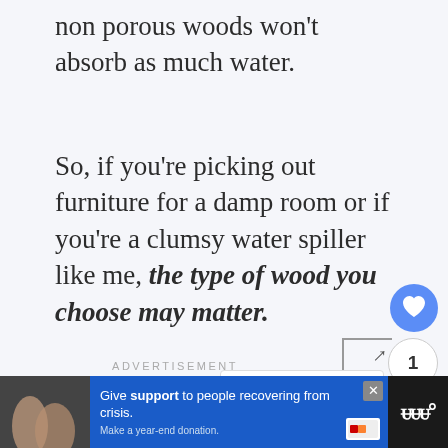non porous woods won’t absorb as much water.
So, if you’re picking out furniture for a damp room or if you’re a clumsy water spiller like me, the type of wood you choose may matter.
ADVERTISEMENT
[Figure (screenshot): Social media interaction buttons: heart/like button (blue circle with heart icon, count badge showing 1, share button), What's Next panel showing Toilet Bubbling... with thumbnail]
[Figure (screenshot): Advertisement banner at bottom: Give support to people recovering from crisis. Make a year-end donation. Blue background with close button and logo.]